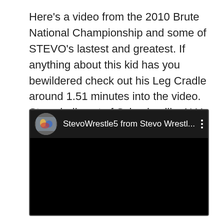Here's a video from the 2010 Brute National Championship and some of STEVO's lastest and greatest. If anything about this kid has you bewildered check out his Leg Cradle around 1.51 minutes into the video. Stevo hails out of Schuylerville, N.Y, and sports a 256-26 record.
[Figure (screenshot): Embedded YouTube-style video player showing 'StevoWrestle5 from Stevo Wrestl...' with a wrestling thumbnail as channel icon. The video body is black.]